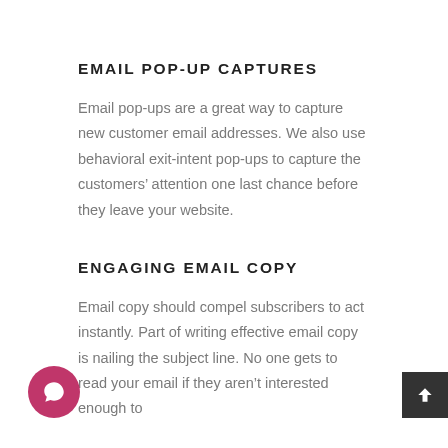EMAIL POP-UP CAPTURES
Email pop-ups are a great way to capture new customer email addresses. We also use behavioral exit-intent pop-ups to capture the customers' attention one last chance before they leave your website.
ENGAGING EMAIL COPY
Email copy should compel subscribers to act instantly. Part of writing effective email copy is nailing the subject line. No one gets to read your email if they aren't interested enough to